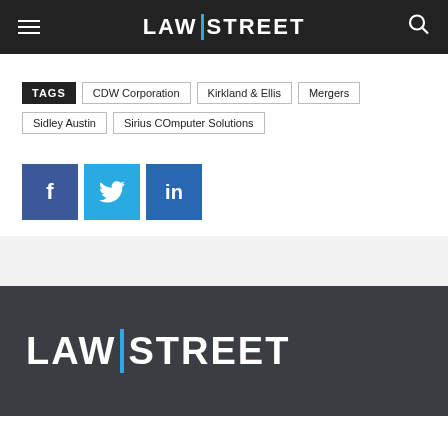LAW|STREET
TAGS: CDW Corporation | Kirkland & Ellis | Mergers | Sidley Austin | Sirius COmputer Solutions
[Figure (other): Social share buttons: Facebook (blue/purple), Twitter (light blue), LinkedIn (dark blue)]
LAW|STREET